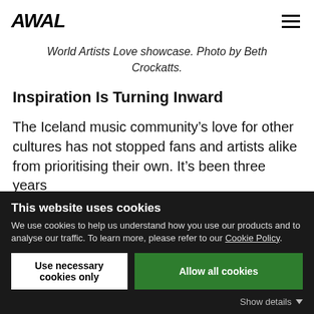AWAL
World Artists Love showcase. Photo by Beth Crockatts.
Inspiration Is Turning Inward
The Iceland music community’s love for other cultures has not stopped fans and artists alike from prioritising their own. It’s been three years since…
This website uses cookies
We use cookies to help us understand how you use our products and to analyse our traffic. To learn more, please refer to our Cookie Policy.
Use necessary cookies only | Allow all cookies
Show details